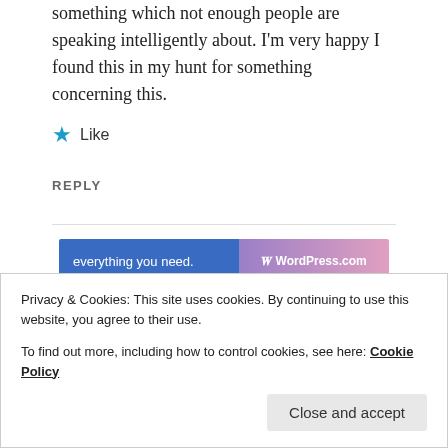something which not enough people are speaking intelligently about. I'm very happy I found this in my hunt for something concerning this.
★ Like
REPLY
[Figure (screenshot): WordPress.com advertisement banner: 'everything you need.' with WordPress.com logo on gradient background]
REPORT THIS AD
Privacy & Cookies: This site uses cookies. By continuing to use this website, you agree to their use.
To find out more, including how to control cookies, see here: Cookie Policy
Close and accept
magnificent goods from you, man. I have understand